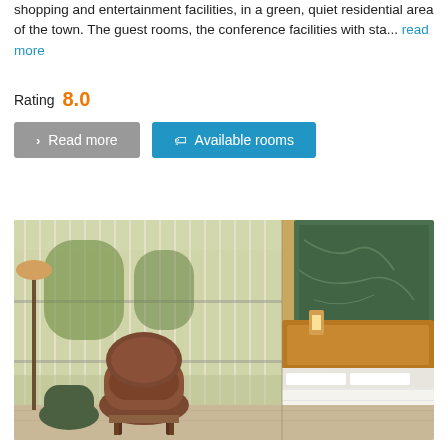shopping and entertainment facilities, in a green, quiet residential area of the town. The guest rooms, the conference facilities with sta... read more
Rating 8.0
Read more
Available rooms
[Figure (photo): Hotel room interior showing a modern suite with large floor-to-ceiling windows with sheer white curtains, a lounge chair, wooden side table, a bed with white linens, wooden headboard, and green marble wall art in the background.]